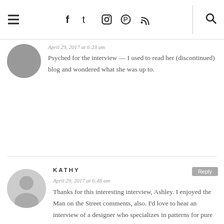≡  f  t  ◻  ◻  ◻  | 🔍
April 29, 2017 at 6:23 am
Psyched for the interview — I used to read her (discontinued) blog and wondered what she was up to.
KATHY
April 29, 2017 at 6:48 am
Thanks for this interesting interview, Ashley. I enjoyed the Man on the Street comments, also. I'd love to hear an interview of a designer who specializes in patterns for pure alpaca (both types) as to what stitches are best suited to this fiber when it is not blended with wool and/or. I personally puzzle over what is best for pure alpaca when I